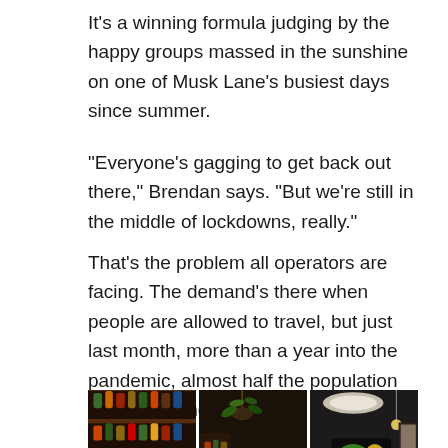It's a winning formula judging by the happy groups massed in the sunshine on one of Musk Lane's busiest days since summer.
“Everyone’s gagging to get back out there,” Brendan says. “But we’re still in the middle of lockdowns, really.”
That's the problem all operators are facing. The demand's there when people are allowed to travel, but just last month, more than a year into the pandemic, almost half the population was in confinement.
[Figure (photo): A composite of three indoor venue photos: left shows shelves stocked with wine/spirit bottles with wooden shelving, center shows hanging green plants with warm lighting, right shows a dark-walled room with colorful wall art and overhead lighting.]